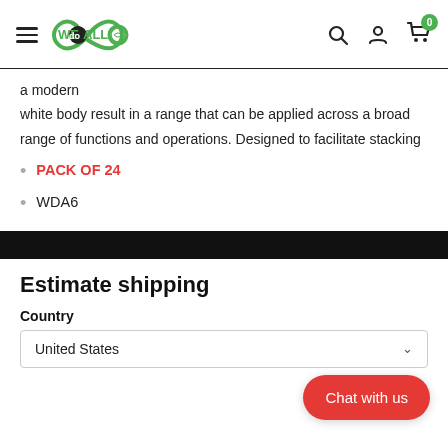[Figure (logo): WeDoAll logo with infinity symbol in green, hamburger menu icon]
a modern
white body result in a range that can be applied across a broad range of functions and operations. Designed to facilitate stacking
PACK OF 24
WDA6
Estimate shipping
Country
United States